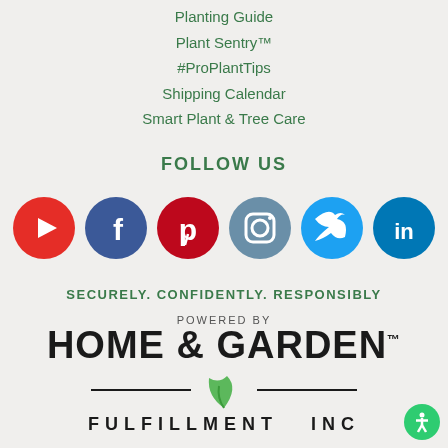Planting Guide
Plant Sentry™
#ProPlantTips
Shipping Calendar
Smart Plant & Tree Care
FOLLOW US
[Figure (infographic): Social media icons row: YouTube (red), Facebook (blue), Pinterest (red), Instagram (gray-blue), Twitter (light blue), LinkedIn (blue)]
SECURELY. CONFIDENTLY. RESPONSIBLY
[Figure (logo): Home & Garden Fulfillment Inc logo with leaf graphic, 'POWERED BY' text above, and 'FULFILLMENT INC' below]